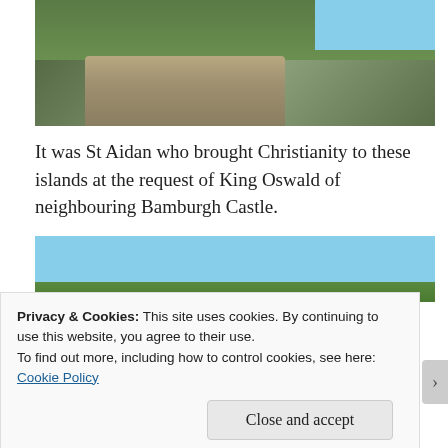[Figure (photo): Outdoor pub garden scene with wooden picnic tables and benches on grass, a person sitting at the table with drinks, sunny day]
It was St Aidan who brought Christianity to these islands at the request of King Oswald of neighbouring Bamburgh Castle.
[Figure (photo): Outdoor scene with blue sky and green trees/bushes, partially visible]
Privacy & Cookies: This site uses cookies. By continuing to use this website, you agree to their use.
To find out more, including how to control cookies, see here: Cookie Policy
Close and accept